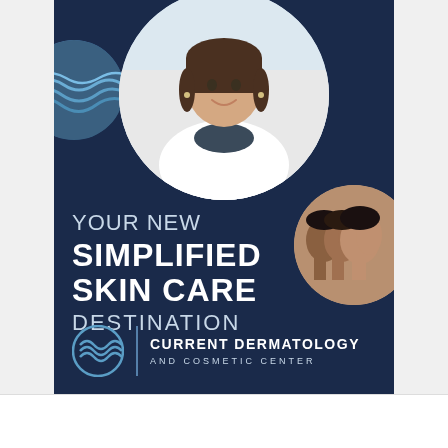[Figure (illustration): Advertisement for Current Dermatology and Cosmetic Center on dark navy blue background. Features a circular photo of a smiling female doctor in a white lab coat, a circular water/wave texture image in the upper left, and a circular image of diverse faces in profile on the right. Text reads: YOUR NEW SIMPLIFIED SKIN CARE DESTINATION. Logo shows circular wave icon with clinic name.]
YOUR NEW SIMPLIFIED SKIN CARE DESTINATION
CURRENT DERMATOLOGY AND COSMETIC CENTER